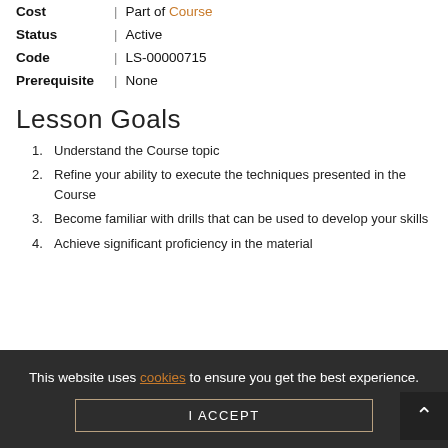Cost | Part of Course
Status | Active
Code | LS-00000715
Prerequisite | None
Lesson Goals
Understand the Course topic
Refine your ability to execute the techniques presented in the Course
Become familiar with drills that can be used to develop your skills
Achieve significant proficiency in the material
This website uses cookies to ensure you get the best experience.